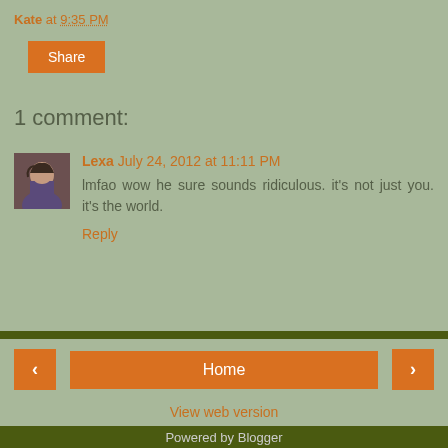Kate at 9:35 PM
Share
1 comment:
Lexa July 24, 2012 at 11:11 PM
lmfao wow he sure sounds ridiculous. it's not just you. it's the world.
Reply
Home | < | > | View web version | Powered by Blogger